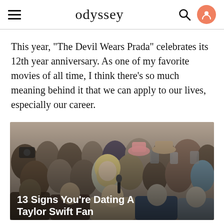odyssey
This year, "The Devil Wears Prada" celebrates its 12th year anniversary. As one of my favorite movies of all time, I think there's so much meaning behind it that we can apply to our lives, especially our career.
[Figure (photo): A crowd of people at an outdoor event; a blonde woman (resembling Taylor Swift) is in the center holding a microphone, surrounded by fans taking photos.]
13 Signs You're Dating A Taylor Swift Fan